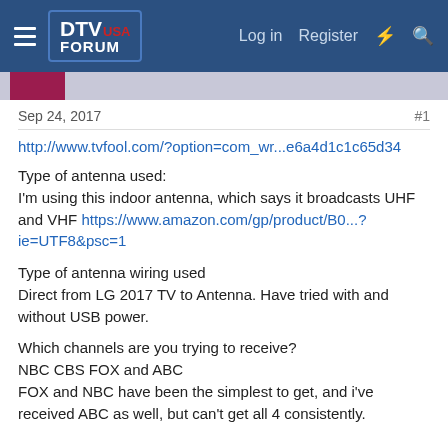DTV USA FORUM  Log in  Register
Sep 24, 2017  #1
http://www.tvfool.com/?option=com_wr...e6a4d1c1c65d34
Type of antenna used:
I'm using this indoor antenna, which says it broadcasts UHF and VHF https://www.amazon.com/gp/product/B0...?ie=UTF8&psc=1
Type of antenna wiring used
Direct from LG 2017 TV to Antenna. Have tried with and without USB power.
Which channels are you trying to receive?
NBC CBS FOX and ABC
FOX and NBC have been the simplest to get, and i've received ABC as well, but can't get all 4 consistently.